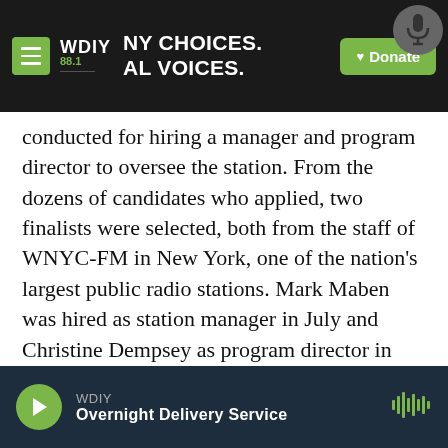WDIY 88.1 | NY CHOICES. LOCAL VOICES. | Donate
conducted for hiring a manager and program director to oversee the station. From the dozens of candidates who applied, two finalists were selected, both from the staff of WNYC-FM in New York, one of the nation's largest public radio stations. Mark Maben was hired as station manager in July and Christine Dempsey as program director in October.
After several months of additional planning, training and fund raising under its new
WDIY | Overnight Delivery Service